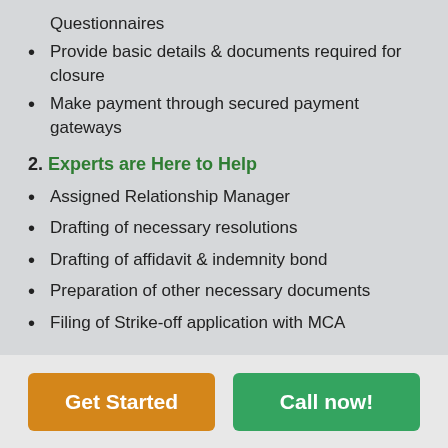Questionnaires
Provide basic details & documents required for closure
Make payment through secured payment gateways
2. Experts are Here to Help
Assigned Relationship Manager
Drafting of necessary resolutions
Drafting of affidavit & indemnity bond
Preparation of other necessary documents
Filing of Strike-off application with MCA
3. Closure application is filed
All it takes is 20 working days*
Get Started
Call now!